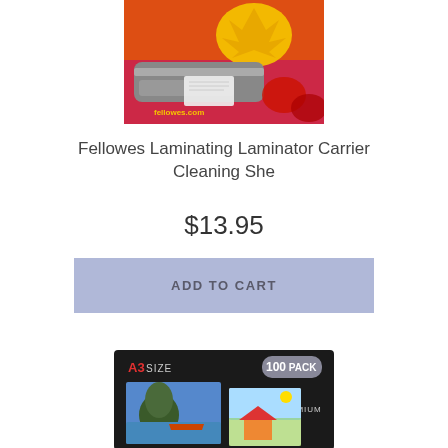[Figure (photo): Fellowes laminator machine with autumn maple leaf on orange/red background, fellowes.com watermark]
Fellowes Laminating Laminator Carrier Cleaning She
$13.95
ADD TO CART
[Figure (photo): A3 size 100 pack premium laminating pouches product box on dark background with photos inside]